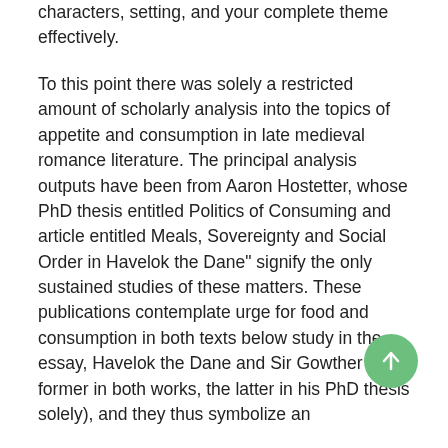characters, setting, and your complete theme effectively.
To this point there was solely a restricted amount of scholarly analysis into the topics of appetite and consumption in late medieval romance literature. The principal analysis outputs have been from Aaron Hostetter, whose PhD thesis entitled Politics of Consuming and article entitled Meals, Sovereignty and Social Order in Havelok the Dane" signify the only sustained studies of these matters. These publications contemplate urge for food and consumption in both texts below study in the essay, Havelok the Dane and Sir Gowther (the former in both works, the latter in his PhD thesis solely), and they thus symbolize an